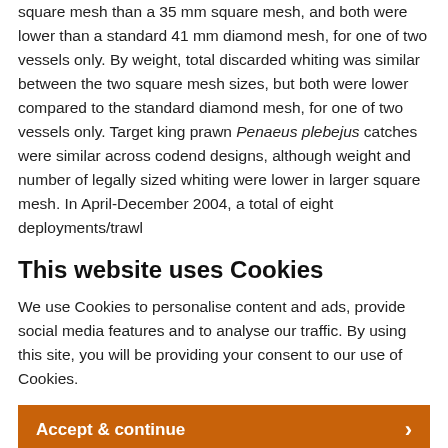square mesh than a 35 mm square mesh, and both were lower than a standard 41 mm diamond mesh, for one of two vessels only. By weight, total discarded whiting was similar between the two square mesh sizes, but both were lower compared to the standard diamond mesh, for one of two vessels only. Target king prawn Penaeus plebejus catches were similar across codend designs, although weight and number of legally sized whiting were lower in larger square mesh. In April-December 2004, a total of eight deployments/trawl
This website uses Cookies
We use Cookies to personalise content and ads, provide social media features and to analyse our traffic. By using this site, you will be providing your consent to our use of Cookies.
Accept & continue